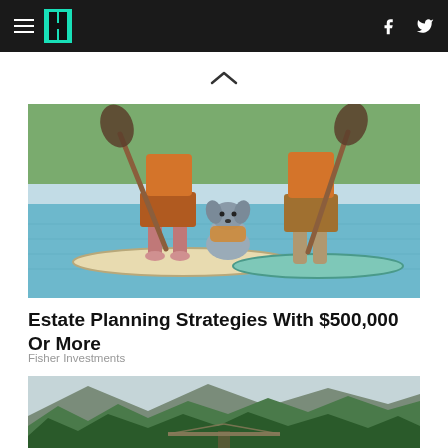HuffPost navigation with hamburger menu, logo, Facebook and Twitter icons
[Figure (illustration): Illustration of two people paddleboarding on water with a dog sitting between them on a paddleboard, surrounded by green trees]
Estate Planning Strategies With $500,000 Or More
Fisher Investments
[Figure (photo): Aerial photo of a suspension bridge over a forest gorge with tall green pine trees and mountains in the background]